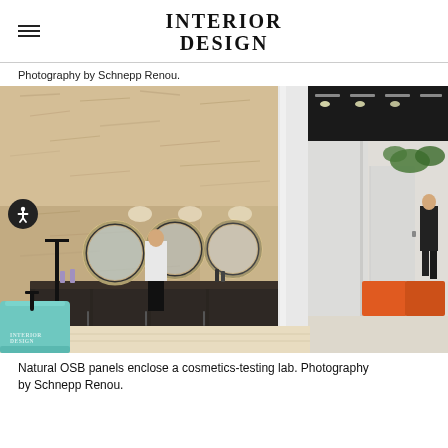INTERIOR DESIGN
Photography by Schnepp Renou.
[Figure (photo): Interior of a cosmetics-testing lab enclosed by natural OSB panels. A woman in black trousers and white top stands at a dark vanity counter with three round backlit mirrors. A mint-green cylindrical sink is in the foreground. To the right, through a white wall opening, a corridor is visible with industrial black ceiling, green hanging plants, orange accent furniture, and a person walking. OSB panels cover ceiling and walls on the left side.]
Natural OSB panels enclose a cosmetics-testing lab. Photography by Schnepp Renou.